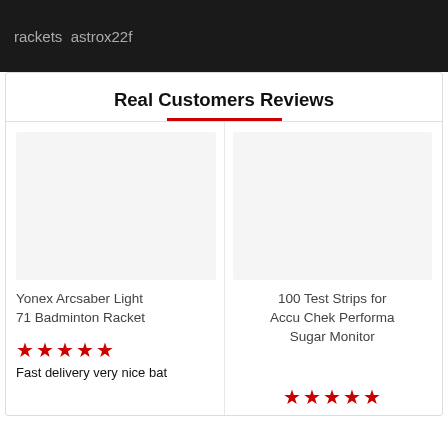rackets  astrox22f
Real Customers Reviews
Yonex Arcsaber Light 71 Badminton Racket
100 Test Strips for Accu Chek Performa Sugar Monitor
★★★★★ (5 stars)
Fast delivery very nice bat
★★★★★ (5 stars)